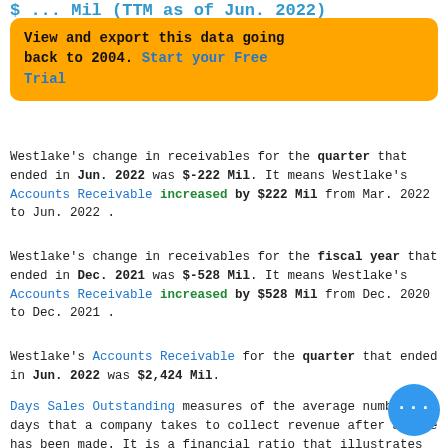$ ... Mil (TTM as of Jun. 2022)
View and export this data going back to 2004. Start your Free Trial
Westlake's change in receivables for the quarter that ended in Jun. 2022 was $-222 Mil. It means Westlake's Accounts Receivable increased by $222 Mil from Mar. 2022 to Jun. 2022 .
Westlake's change in receivables for the fiscal year that ended in Dec. 2021 was $-528 Mil. It means Westlake's Accounts Receivable increased by $528 Mil from Dec. 2020 to Dec. 2021 .
Westlake's Accounts Receivable for the quarter that ended in Jun. 2022 was $2,424 Mil.
Days Sales Outstanding measures of the average number of days that a company takes to collect revenue after a sale has been made. It is a financial ratio that illustrates how well a company's Accounts Receivable are being managed. Westlake's Days Sales Outstanding for the three months ended in Jun. 2022 was 49.34.